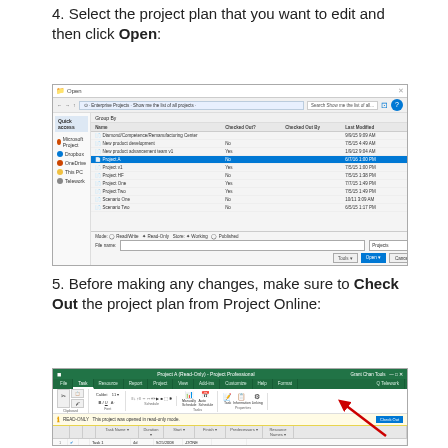4. Select the project plan that you want to edit and then click Open:
[Figure (screenshot): Windows Open file dialog showing a list of Microsoft Project files in a SharePoint/Project Online file browser, with one file (Project A) highlighted in blue.]
5. Before making any changes, make sure to Check Out the project plan from Project Online:
[Figure (screenshot): Microsoft Project Professional ribbon showing the Task tab with a READ-ONLY yellow alert bar saying 'This project was opened in read-only mode' with a 'Check Out' button highlighted, and a red arrow pointing to it. Three tasks are visible below.]